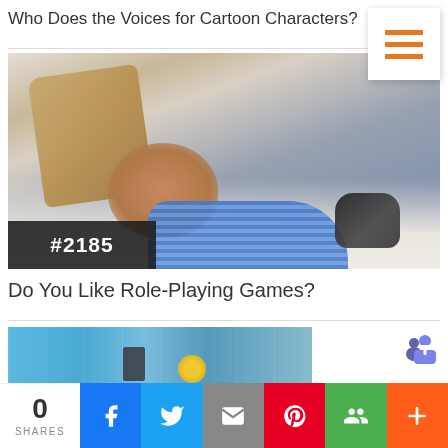Who Does the Voices for Cartoon Characters?
[Figure (photo): Boy lying on a white couch on his stomach, holding a video game controller, smiling at camera. Brown pillow behind him. Wearing blue striped shirt. Badge '#2185' in bottom-left corner of image.]
Do You Like Role-Playing Games?
[Figure (photo): Partial view of a second article thumbnail showing a blue background with some objects.]
0 SHARES
[Figure (logo): Microsoft Teams icon (purple/blue)]